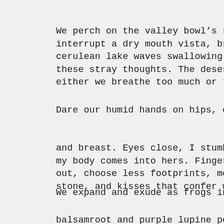We perch on the valley bowl's rim, her fly
interrupt a dry mouth vista, brush shoulde
cerulean lake waves swallowing- gulp. Oh,
these stray thoughts. The desert air thin 
either we breathe too much or too little.
Dare our humid hands on hips, cup chin, ja
and breast. Eyes close, I stumble on loose
my body comes into hers. Fingers connect i
out, choose less footprints, more exposed
stone, and kisses that confer with souls l
We expand and exude as frogs in day's desc
balsamroot and purple lupine pepper thighs
their survival in the desert heat. The str
attune to the crisp and clear intent- do n